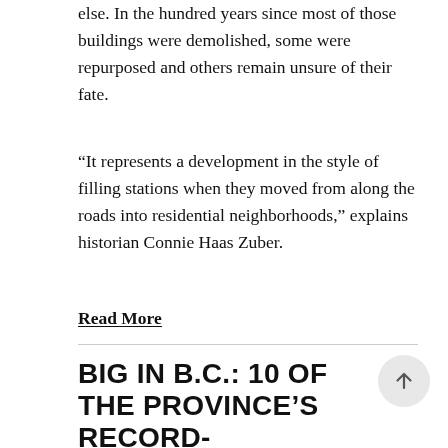else. In the hundred years since most of those buildings were demolished, some were repurposed and others remain unsure of their fate.
“It represents a development in the style of filling stations when they moved from along the roads into residential neighborhoods,” explains historian Connie Haas Zuber.
Read More
BIG IN B.C.: 10 OF THE PROVINCE’S RECORD-BREAKING, GIANT ROADSIDE